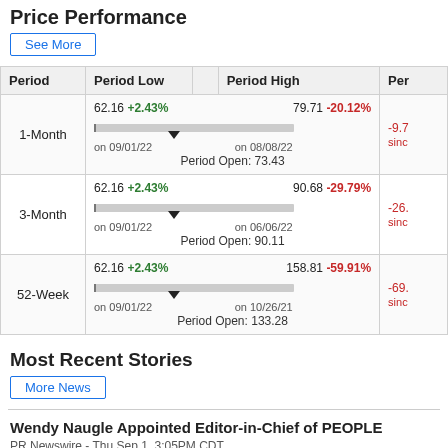Price Performance
See More
| Period | Period Low | Period High | Per... |
| --- | --- | --- | --- |
| 1-Month | 62.16 +2.43% on 09/01/22 | Period Open: 73.43 | 79.71 -20.12% on 08/08/22 | -9.7... sinc... |
| 3-Month | 62.16 +2.43% on 09/01/22 | Period Open: 90.11 | 90.68 -29.79% on 06/06/22 | -26... sinc... |
| 52-Week | 62.16 +2.43% on 09/01/22 | Period Open: 133.28 | 158.81 -59.91% on 10/26/21 | -69... sinc... |
Most Recent Stories
More News
Wendy Naugle Appointed Editor-in-Chief of PEOPLE
PR Newswire - Thu Sep 1, 3:05PM CDT
▼ IAC : 63.67 (-0.92%)